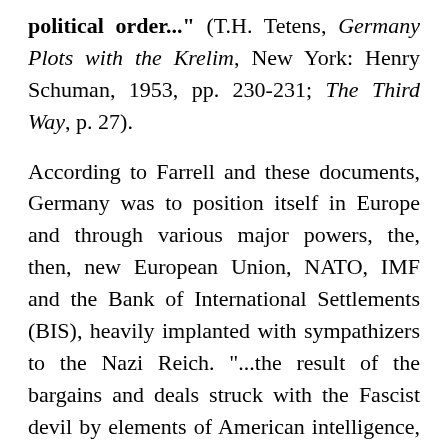political order..." (T.H. Tetens, Germany Plots with the Krelim, New York: Henry Schuman, 1953, pp. 230-231; The Third Way, p. 27).
According to Farrell and these documents, Germany was to position itself in Europe and through various major powers, the, then, new European Union, NATO, IMF and the Bank of International Settlements (BIS), heavily implanted with sympathizers to the Nazi Reich. "...the result of the bargains and deals struck with the Fascist devil by elements of American intelligence, at the end of the Second War World—Germany surrendered, but the Nazis did not." (p. 2)
The continued Reich was achieved through the Nazi education system, National Socialism Fascism, hidden finance and the various exploitations, says